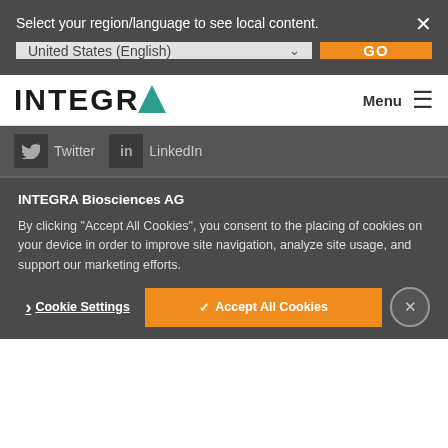Select your region/language to see local content.
[Figure (screenshot): Region/language selector dropdown showing 'United States (English)' with a GO button]
[Figure (logo): INTEGRA logo with teal triangle, and Menu hamburger icon]
Twitter   LinkedIn
INTEGRA Biosciences AG
By clicking "Accept All Cookies", you consent to the placing of cookies on your device in order to improve site navigation, analyze site usage, and support our marketing efforts.
Cookie Settings   ✓ Accept All Cookies